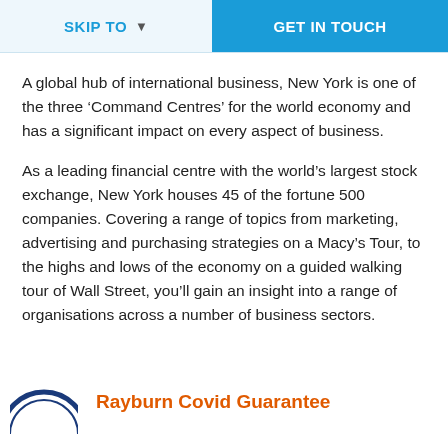SKIP TO  ▾    GET IN TOUCH
A global hub of international business, New York is one of the three ‘Command Centres’ for the world economy and has a significant impact on every aspect of business.
As a leading financial centre with the world’s largest stock exchange, New York houses 45 of the fortune 500 companies. Covering a range of topics from marketing, advertising and purchasing strategies on a Macy’s Tour, to the highs and lows of the economy on a guided walking tour of Wall Street, you’ll gain an insight into a range of organisations across a number of business sectors.
[Figure (logo): Circular logo partially visible at bottom left]
Rayburn Covid Guarantee